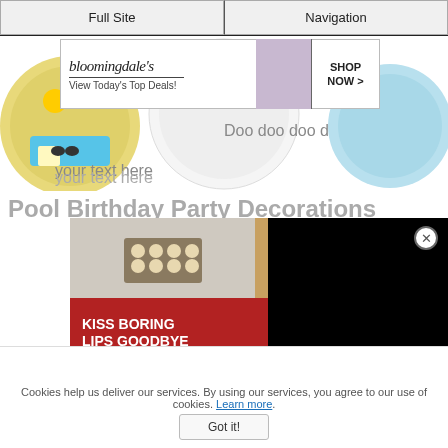Full Site | Navigation
[Figure (screenshot): Advertisement banner for Bloomingdales: 'View Today's Top Deals!' with SHOP NOW button and woman in hat]
[Figure (photo): Three decorative paper plates: beach/summer theme, baby shark birthday theme, mermaid birthday theme]
Pool Birthday Party Decorations
[Figure (screenshot): Macy's advertisement: 'KISS BORING LIPS GOODBYE' with SHOP NOW button and Macy's logo, overlaid with black box]
With the
Cookies help us deliver our services. By using our services, you agree to our use of cookies. Learn more.
Got it!